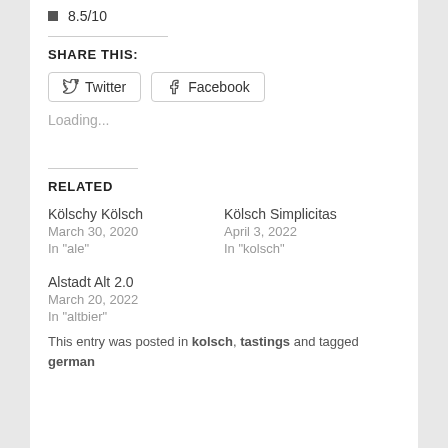8.5/10
SHARE THIS:
Twitter  Facebook
Loading...
RELATED
Kölschy Kölsch
March 30, 2020
In "ale"
Kölsch Simplicitas
April 3, 2022
In "kolsch"
Alstadt Alt 2.0
March 20, 2022
In "altbier"
This entry was posted in kolsch, tastings and tagged german